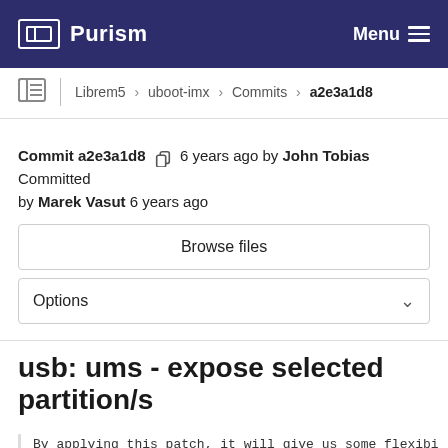Purism   Menu
Librem5 › uboot-imx › Commits › a2e3a1d8
Commit a2e3a1d8  6 years ago by John Tobias Committed by Marek Vasut 6 years ago
Browse files
Options
usb: ums - expose selected partition/s
By applying this patch, it will give us some flexibi a selected partition/s.